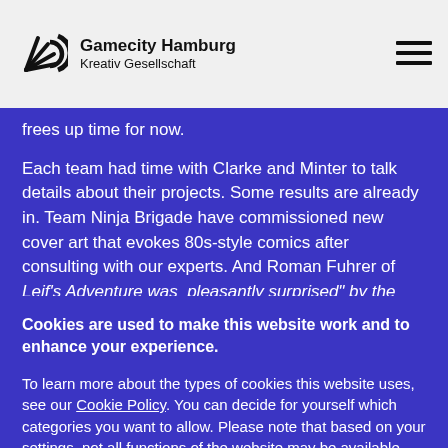Gamecity Hamburg Kreativ Gesellschaft
frees up time for now.
Each team had time with Clarke and Minter to talk details about their projects. Some results are already in. Team Ninja Brigade have commissioned new cover art that evokes 80s-style comics after consulting with our experts. And Roman Fuhrer of Leif's Adventure was  pleasantly surprised" by the
Cookies are used to make this website work and to enhance your experience.
To learn more about the types of cookies this website uses, see our Cookie Policy. You can decide for yourself which categories you want to allow. Please note that based on your settings, not all functions of the website may be available.
Accept all | Accept necessary cookies only | Choose cookies